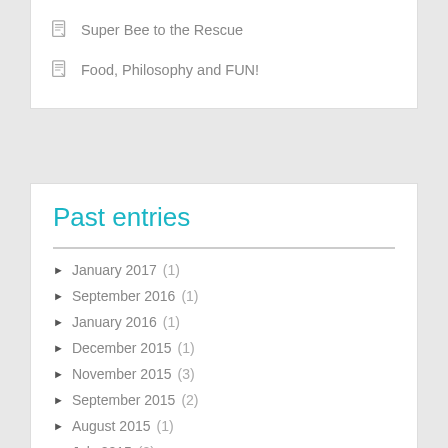Super Bee to the Rescue
Food, Philosophy and FUN!
Past entries
January 2017 (1)
September 2016 (1)
January 2016 (1)
December 2015 (1)
November 2015 (3)
September 2015 (2)
August 2015 (1)
July 2015 (2)
June 2015 (3)